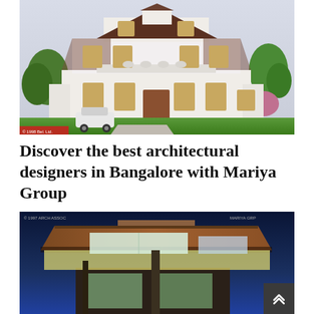[Figure (photo): Exterior rendering of a large white colonial-style multi-storey house with brown roof accents, arched decorative elements, multiple windows, green lawn, trees, and a car in the driveway. Daytime view.]
Discover the best architectural designers in Bangalore with Mariya Group
[Figure (photo): Nighttime architectural rendering of a modern building with cantilevered roof structure, wood cladding, large glass windows illuminated from inside, against a blue twilight sky.]